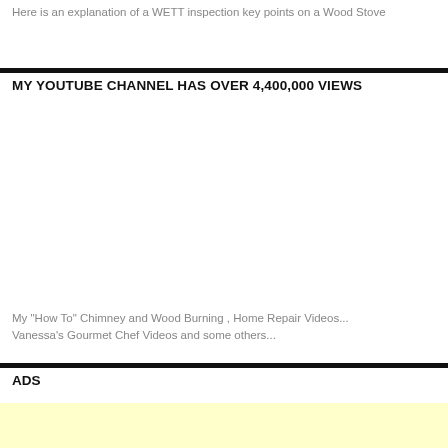Here is an explanation of a WETT inspection key points on a Wood Stove
MY YOUTUBE CHANNEL HAS OVER 4,400,000 VIEWS
[Figure (other): Embedded YouTube video placeholder area]
My "How To" Chimney and Wood Burning , Home Repair Videos... Vanessa's Gourmet Chef Videos and some others...
ADS
[Figure (other): Advertisement placeholder with light yellow background]